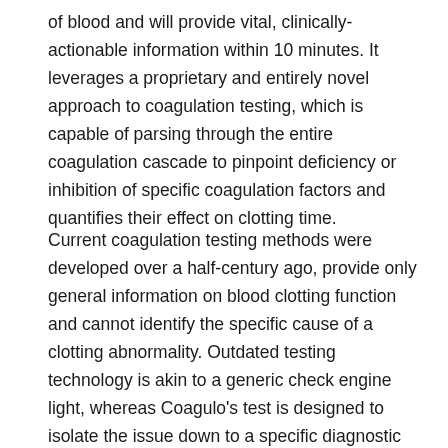of blood and will provide vital, clinically-actionable information within 10 minutes. It leverages a proprietary and entirely novel approach to coagulation testing, which is capable of parsing through the entire coagulation cascade to pinpoint deficiency or inhibition of specific coagulation factors and quantifies their effect on clotting time.
Current coagulation testing methods were developed over a half-century ago, provide only general information on blood clotting function and cannot identify the specific cause of a clotting abnormality. Outdated testing technology is akin to a generic check engine light, whereas Coagulo's test is designed to isolate the issue down to a specific diagnostic code. "The device promises better health outcomes by permitting physicians to supplement clinical intuition with targeted information that they always wanted but no other technology could deliver," said Dr. Galit Frydman, CSO and President of the company. "To be able to